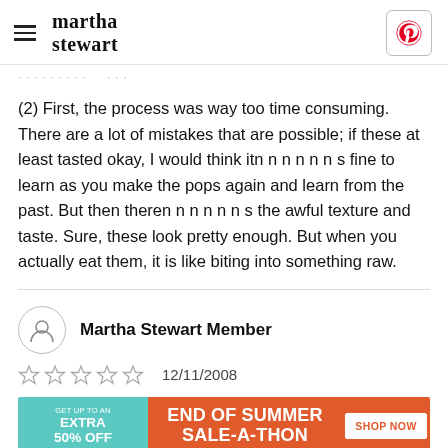martha stewart
(2) First, the process was way too time consuming. There are a lot of mistakes that are possible; if these at least tasted okay, I would think itn n n n n n s fine to learn as you make the pops again and learn from the past. But then theren n n n n n s the awful texture and taste. Sure, these look pretty enough. But when you actually eat them, it is like biting into something raw.
Martha Stewart Member
12/11/2008
[Figure (infographic): End of Summer Sale-a-thon advertisement banner: teal left panel with 'GET UP TO AN EXTRA 50% OFF', orange center with 'END OF SUMMER SALE-A-THON', orange right with white 'SHOP NOW' button]